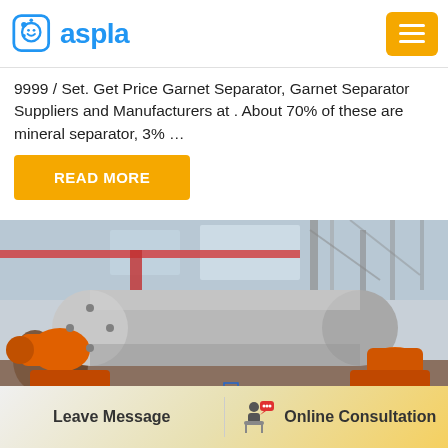aspla
9999 / Set. Get Price Garnet Separator, Garnet Separator Suppliers and Manufacturers at . About 70% of these are mineral separator, 3% …
READ MORE
[Figure (photo): Industrial orange and grey cylindrical drum/ball mill machine in a factory setting, with orange motor mounts and large grey drum, factory background with steel structures.]
Leave Message  |  Online Consultation